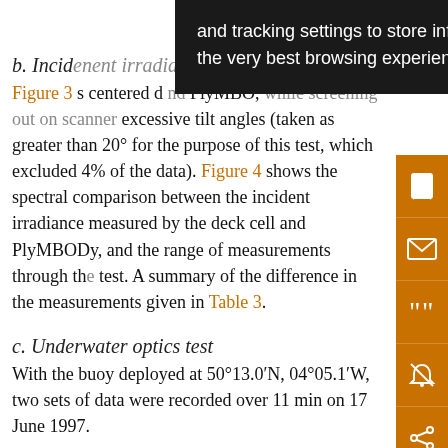b. Incid[ent irradiance test]
Figure 3 s[hows...] centered [...] nd PlyMBOD[y, while filtering out on scanner] excessive tilt angles (taken as greater than 20° for the purpose of this test, which excluded 4% of the data). Figure 4 shows the spectral comparison between the incident irradiance measured by the deck cell and PlyMBODy, and the range of measurements through th[e] test. A summary of the difference in the measurements given in Table 3.
c. Underwater optics test
With the buoy deployed at 50°13.0′N, 04°05.1′W, two sets of data were recorded over 11 min on 17 June 1997.